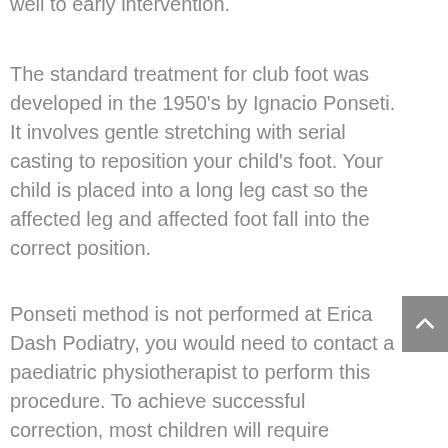well to early intervention.
The standard treatment for club foot was developed in the 1950's by Ignacio Ponseti. It involves gentle stretching with serial casting to reposition your child's foot. Your child is placed into a long leg cast so the affected leg and affected foot fall into the correct position.
Ponseti method is not performed at Erica Dash Podiatry, you would need to contact a paediatric physiotherapist to perform this procedure. To achieve successful correction, most children will require